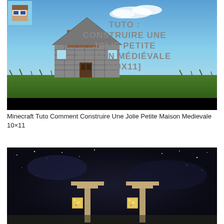[Figure (screenshot): Minecraft YouTube thumbnail showing a medieval house built from stone and wood blocks on a grassy field under a blue sky. Top-left corner shows a small Minecraft character avatar. Bold text reads: TUTO : CONSTRUIRE UNE JOLIE PETITE MAISON MÉDIÉVALE [10X11]. Bottom portion of thumbnail is black.]
Minecraft Tuto Comment Construire Une Jolie Petite Maison Medievale 10×11
[Figure (screenshot): Minecraft nighttime screenshot showing two stone/sandstone lamp post structures with glowstone or similar light source blocks at the base, against a dark starry sky background.]